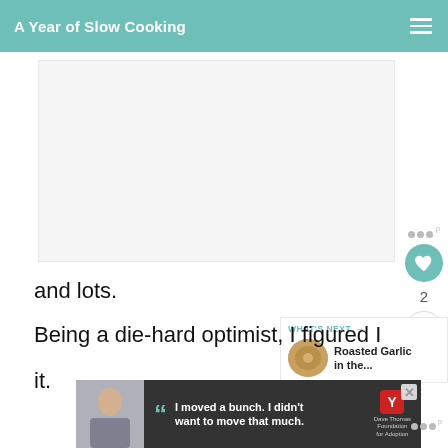A Year of Slow Cooking
[Figure (photo): Large image placeholder area (white/light gray rectangle)]
and lots.
Being a die-hard optimist, I figured I
it.
WHAT'S NEXT → Roasted Garlic in the...
[Figure (photo): Dave Thomas Foundation for Adoption advertisement: boy with quote 'I moved a bunch. I didn't want to move that much.']